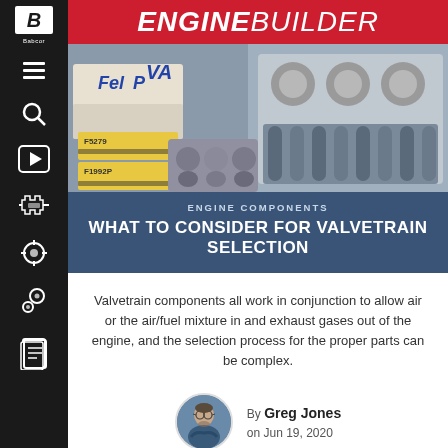ENGINE BUILDER
[Figure (photo): Engine valvetrain components including valve springs, retainers, and engine head with valve boxes from FelPro and related brands]
ENGINE COMPONENTS
WHAT TO CONSIDER FOR VALVETRAIN SELECTION
Valvetrain components all work in conjunction to allow air or the air/fuel mixture in and exhaust gases out of the engine, and the selection process for the proper parts can be complex.
By Greg Jones on Jun 19, 2020